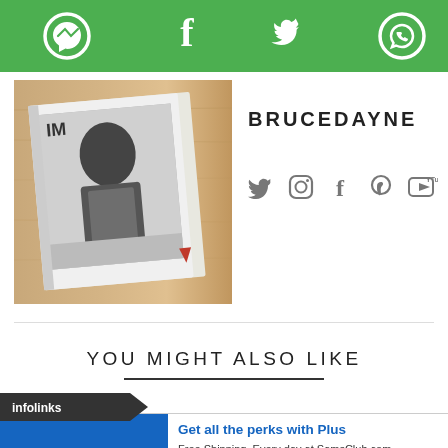[Figure (screenshot): Green top navigation bar with social sharing icons: Messenger, Facebook, Twitter, WhatsApp, and a sync/refresh icon]
[Figure (photo): Book cover image showing a black and white photo of a person, placed on a wooden surface]
BRUCEDAYNE
[Figure (other): Social media icons: Twitter, Instagram, Facebook, Pinterest, YouTube]
YOU MIGHT ALSO LIKE
[Figure (other): Infolinks advertisement banner for Sam's Club Plus membership: Get all the perks with Plus. Free Shipping. Every day at SamsClub.com. Exclusions apply. www.samsclub.com]